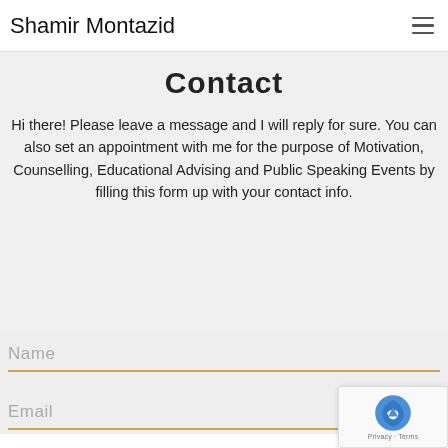Shamir Montazid
Contact
Hi there! Please leave a message and I will reply for sure. You can also set an appointment with me for the purpose of Motivation, Counselling, Educational Advising and Public Speaking Events by filling this form up with your contact info.
Name
Email